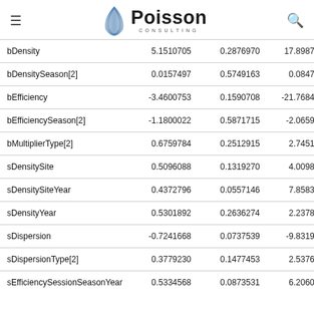Poisson Consulting
| Parameter | Estimate | SE | z-value | ... |
| --- | --- | --- | --- | --- |
| bDensity | 5.1510705 | 0.2876970 | 17.8987169 | 4 |
| bDensitySeason[2] | 0.0157497 | 0.5749163 | 0.0847352 | -0 |
| bEfficiency | -3.4600753 | 0.1590708 | -21.7684830 | -3 |
| bEfficiencySeason[2] | -1.1800022 | 0.5871715 | -2.0659784 | -2 |
| bMultiplierType[2] | 0.6759784 | 0.2512915 | 2.7451933 | 0 |
| sDensitySite | 0.5096088 | 0.1319270 | 4.0098108 | 0 |
| sDensitySiteYear | 0.4372796 | 0.0557146 | 7.8583799 | 0 |
| sDensityYear | 0.5301892 | 0.2636274 | 2.2378175 | 0 |
| sDispersion | -0.7241668 | 0.0737539 | -9.8319012 | -0 |
| sDispersionType[2] | 0.3779230 | 0.1477453 | 2.5376958 | 0 |
| sEfficiencySessionSeasonYear | 0.5334568 | 0.0873531 | 6.2060991 | 0 |